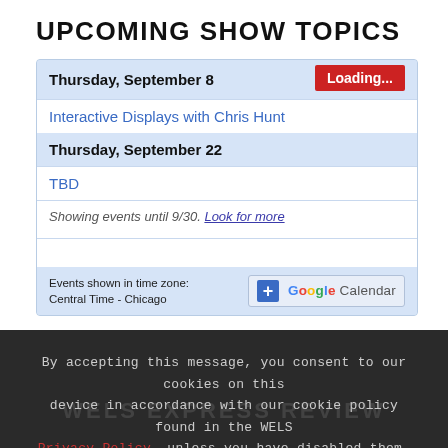UPCOMING SHOW TOPICS
| Thursday, September 8 | Loading... |
| Interactive Displays with Chris Hunt |  |
| Thursday, September 22 |  |
| TBD |  |
| Showing events until 9/30. Look for more |  |
Events shown in time zone: Central Time - Chicago
[Figure (logo): Google Calendar button with + icon]
By accepting this message, you consent to our cookies on this device in accordance with our cookie policy found in the WELS Privacy Policy, unless you have disabled them.
I AGREE
Send Voicemail